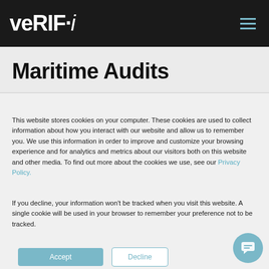veRIF·i
Maritime Audits
This website stores cookies on your computer. These cookies are used to collect information about how you interact with our website and allow us to remember you. We use this information in order to improve and customize your browsing experience and for analytics and metrics about our visitors both on this website and other media. To find out more about the cookies we use, see our Privacy Policy.
If you decline, your information won't be tracked when you visit this website. A single cookie will be used in your browser to remember your preference not to be tracked.